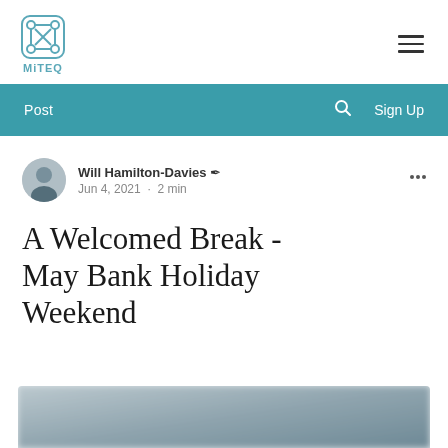MiTEQ
Post  🔍  Sign Up
Will Hamilton-Davies ✍  Jun 4, 2021 · 2 min
A Welcomed Break - May Bank Holiday Weekend
[Figure (photo): Blurred outdoor landscape photo at the bottom of the page]